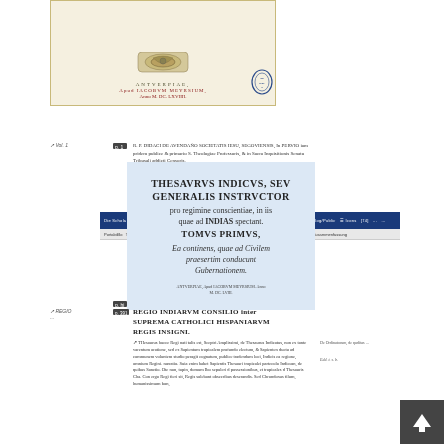[Figure (photo): Scanned title page of an old book showing publication details: ANTVERPIAE, Apud IACOBVM MEYRSIUM, Anno M. DC. LXVIIII, with decorative emblem and oval library stamp]
[Figure (screenshot): Website screenshot showing a digital library catalog with navigation bar and search interface]
R. P. DIDACI DE AVENDAÑO SOCIETATIS IESU, SEGOVIENSIS, In PERVIO iam pridem publice & primario S. Theologiae Professoris, & in Sacra Inquisitionis Senatu Tribusali addicti Censoris.
THESAVRVS INDICVS, SEV GENERALIS INSTRVCTOR pro regimine conscientiae, in iis quae ad INDIAS spectant. TOMVS PRIMVS, Ea continens, quae ad Civilem praesertim conducunt Gubernationem.
ANTVERPIAE, Apud IACOBVM MEYRSIUM. Anno M. DC. LVIII.
REGIO INDIARVM CONSILIO inter SUPREMA CATHOLICI HISPANIARVM REGIS INSIGNI.
Thesaurus hucce Regi nati talis est, Sceptri Amplissimi, de Thesaurus Indicatus, non ex tante varentum oratione, sed ex Sapientum tropicalem profundo electum, & Sapienten ductu ad communem voluntem studio peragit cognatum, publice tradendum loci, Indicis ea regione, omnium Regini. narratio. Suia enim habet Sapientis Thesauri tropicalei partecolo Indicean, de quibus Sanctio. Ote non, topin, domum Ibo sepulcri d possessionibus, et tropicales d Thesauris Cha. Con ergo Regi fieri sit, Regis solebant obsecribus deserandis. Sed Chrondoxas filum, humanissimum bon,